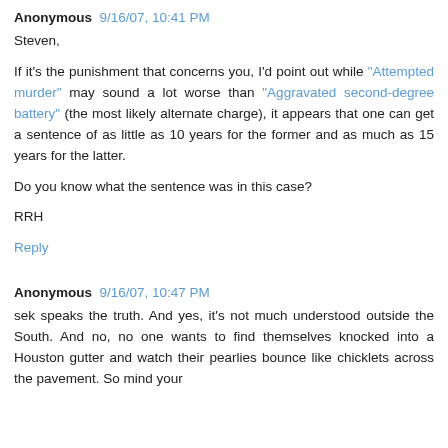Anonymous 9/16/07, 10:41 PM
Steven,

If it's the punishment that concerns you, I'd point out while "Attempted murder" may sound a lot worse than "Aggravated second-degree battery" (the most likely alternate charge), it appears that one can get a sentence of as little as 10 years for the former and as much as 15 years for the latter.

Do you know what the sentence was in this case?

RRH
Reply
Anonymous 9/16/07, 10:47 PM
sek speaks the truth. And yes, it's not much understood outside the South. And no, no one wants to find themselves knocked into a Houston gutter and watch their pearlies bounce like chicklets across the pavement. So mind your